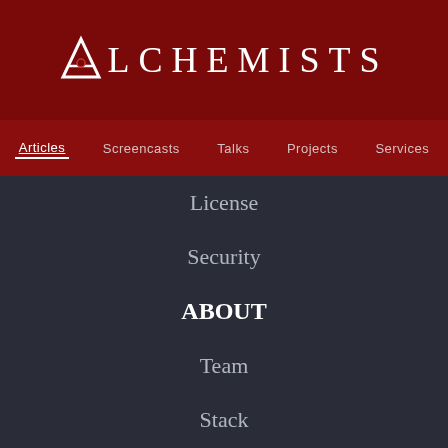Alchemists
Articles
Screencasts
Talks
Projects
Services
License
Security
ABOUT
Team
Stack
Location
History